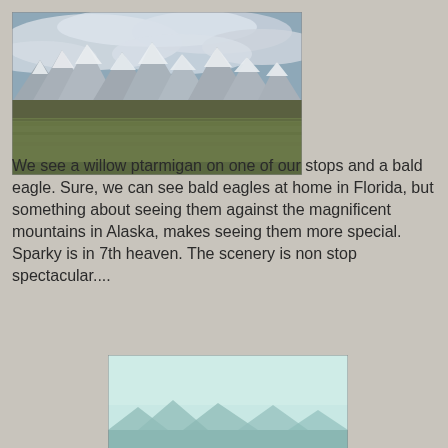[Figure (photo): Landscape photo of snow-capped mountains in Alaska with green fields in the foreground and a cloudy sky above.]
We see a willow ptarmigan on one of our stops and a bald eagle. Sure, we can see bald eagles at home in Florida, but something about seeing them against the magnificent mountains in Alaska, makes seeing them more special. Sparky is in 7th heaven. The scenery is non stop spectacular....
[Figure (photo): Landscape photo showing mountain peaks with a pale blue-green misty sky, partially visible at the bottom of the page.]